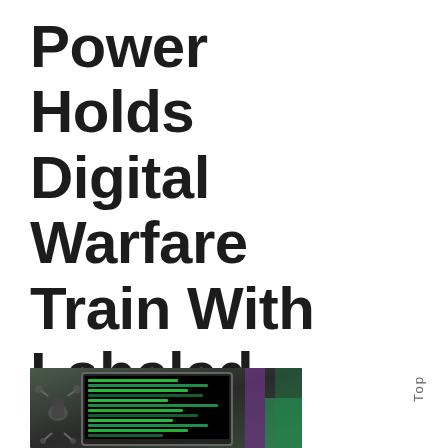Power Holds Digital Warfare Train With Labeled Stealth Drone
[Figure (photo): Photo showing a laptop/tablet screen displaying green text on black background (code or terminal), with a mechanical drone or robot figure visible to the left, against a blurred background with purple and green elements.]
Top